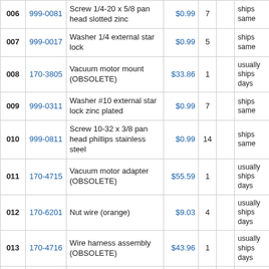| # | Part | Description | Price | Qty |  | Shipping |
| --- | --- | --- | --- | --- | --- | --- |
| 006 | 999-0081 | Screw 1/4-20 x 5/8 pan head slotted zinc | $0.99 | 7 |  | ships same |
| 007 | 999-0017 | Washer 1/4 external star lock | $0.99 | 5 |  | ships same |
| 008 | 170-3805 | Vacuum motor mount (OBSOLETE) | $33.86 | 1 |  | usually ships days |
| 009 | 999-0311 | Washer #10 external star lock zinc plated | $0.99 | 7 |  | ships same |
| 010 | 999-0811 | Screw 10-32 x 3/8 pan head phillips stainless steel | $0.99 | 14 |  | ships same |
| 011 | 170-4715 | Vacuum motor adapter (OBSOLETE) | $55.59 | 1 |  | usually ships days |
| 012 | 170-6201 | Nut wire (orange) | $9.03 | 4 |  | usually ships days |
| 013 | 170-4716 | Wire harness assembly (OBSOLETE) | $43.96 | 1 |  | usually ships days |
| 014 | 170-8007 | Nylon wire tie | $10.52 | 3 |  | usually ships |